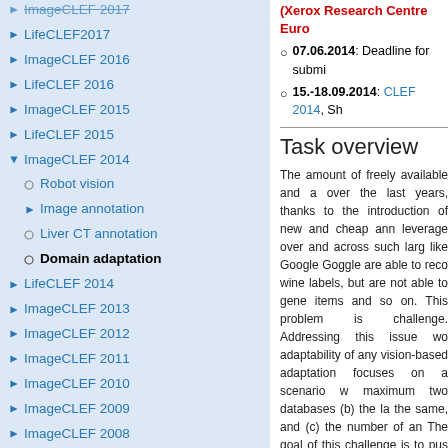ImageCLEF 2017
LifeCLEF2017
ImageCLEF 2016
LifeCLEF 2016
ImageCLEF 2015
LifeCLEF 2015
ImageCLEF 2014
Robot vision
Image annotation
Liver CT annotation
Domain adaptation
LifeCLEF 2014
ImageCLEF 2013
ImageCLEF 2012
ImageCLEF 2011
ImageCLEF 2010
ImageCLEF 2009
ImageCLEF 2008
(Xerox Research Centre Euro
07.06.2014: Deadline for submi
15.-18.09.2014: CLEF 2014, Sh
Task overview
The amount of freely available and a over the last years, thanks to the introduction of new and cheap ann leverage over and across such larg like Google Goggle are able to reco wine labels, but are not able to gene items and so on. This problem is challenge. Addressing this issue wo adaptability of any vision-based adaptation focuses on a scenario w maximum two databases (b) the la the same, and (c) the number of an The goal of this challenge is to pus relaxing these assumptions. In the 2